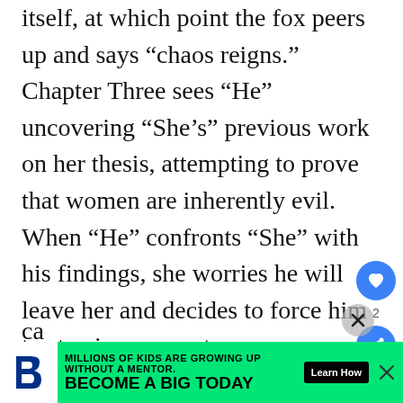itself, at which point the fox peers up and says “chaos reigns.” Chapter Three sees “He” uncovering “She’s” previous work on her thesis, attempting to prove that women are inherently evil. When “He” confronts “She” with his findings, she worries he will leave her and decides to force him to stay in some extreme ways (these physical punishments are intertwined with some really uncomfortable sexual imagery). While Chapters One and Two push the envelope in terms of stillness and pain, Chapter Three goes for the jugular in a way that few films can
[Figure (other): Heart/like button (blue circle with heart icon), share button (blue circle with share icon), and a count label showing 2]
[Figure (other): Advertisement banner: Big Brothers Big Sisters logo on white background, green background with text 'MILLIONS OF KIDS ARE GROWING UP WITHOUT A MENTOR. BECOME A BIG TODAY' and a black 'Learn How' button. Close X button on right.]